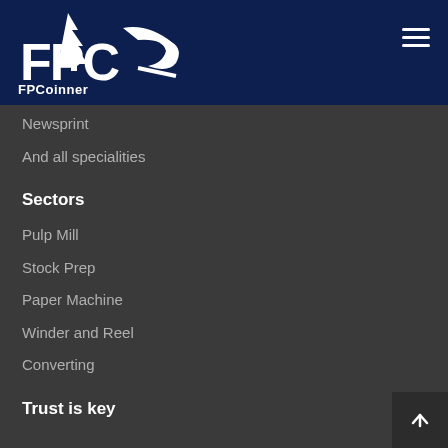FPCoinner
Newsprint
And all specialities
Sectors
Pulp Mill
Stock Prep
Paper Machine
Winder and Reel
Converting
Trust is key